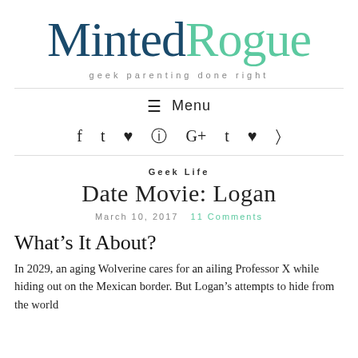MintedRogue
geek parenting done right
≡ Menu
f  ♥  ®  ☎  G+  t  ♥  ⊃
Geek Life
Date Movie: Logan
March 10, 2017   11 Comments
What's It About?
In 2029, an aging Wolverine cares for an ailing Professor X while hiding out on the Mexican border. But Logan's attempts to hide from the world